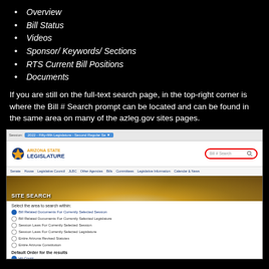Overview
Bill Status
Videos
Sponsor/ Keywords/ Sections
RTS Current Bill Positions
Documents
If you are still on the full-text search page, in the top-right corner is where the Bill # Search prompt can be located and can be found in the same area on many of the azleg.gov sites pages.
[Figure (screenshot): Screenshot of the Arizona State Legislature website (azleg.gov) showing the SITE SEARCH page. The header shows the Arizona State Legislature logo and navigation. A red oval highlights the Bill # Search input in the top-right corner. Below the banner, the search form shows radio button options for selecting a search area and default order for results, with a Search Phrase input at the bottom.]